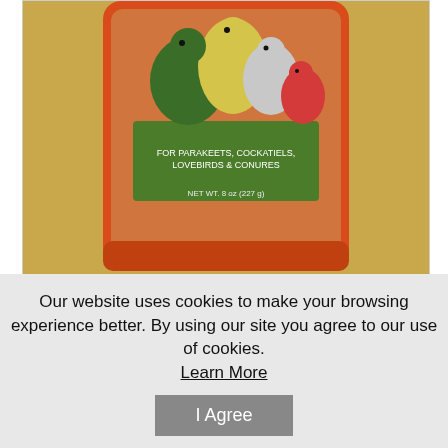[Figure (photo): Product photo of Lafeber Avi Cakes bird food in an orange/red bag, showing parakeets and cockatiels on the packaging, with seeds visible through the bag.]
Price: $6.69
Brand: Lafeber Company
SKU: LFB86010
Avi Cakes, Choose Species Group: Small Birds 8 Ounces
Quantity 1
Our website uses cookies to make your browsing experience better. By using our site you agree to our use of cookies.
Learn More
I Agree